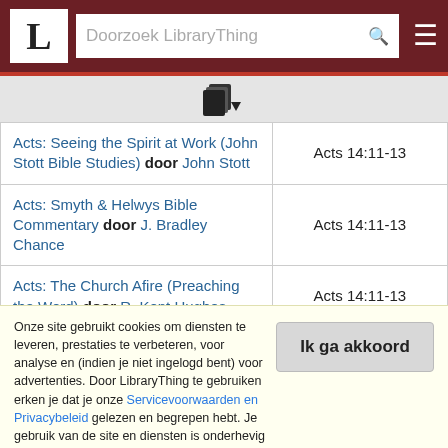Doorzoek LibraryThing
[Figure (other): Sort/filter icon — stacked documents with a dropdown arrow]
| Book | Reference |
| --- | --- |
| Acts: Seeing the Spirit at Work (John Stott Bible Studies) door John Stott | Acts 14:11-13 |
| Acts: Smyth & Helwys Bible Commentary door J. Bradley Chance | Acts 14:11-13 |
| Acts: The Church Afire (Preaching the Word) door R. Kent Hughes | Acts 14:11-13 |
| Acts: The Spread of the Gospel door … |  |
Onze site gebruikt cookies om diensten te leveren, prestaties te verbeteren, voor analyse en (indien je niet ingelogd bent) voor advertenties. Door LibraryThing te gebruiken erken je dat je onze Servicevoorwaarden en Privacybeleid gelezen en begrepen hebt. Je gebruik van de site en diensten is onderhevig aan dit beleid en deze voorwaarden.
Ik ga akkoord